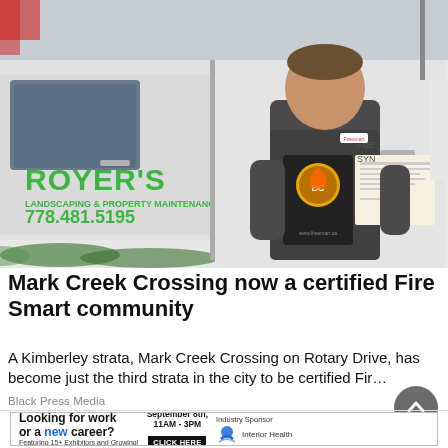[Figure (photo): Man standing in front of a white truck with 'ROVER'S LANDSCAPING & PROPERTY MAINTENANCE 778.481.5195' signage, holding a FireSmart BC certification plaque and a certificate.]
Mark Creek Crossing now a certified Fire Smart community
A Kimberley strata, Mark Creek Crossing on Rotary Drive, has become just the third strata in the city to be certified Fir…
Black Press Media
[Figure (other): Advertisement banner: 'Looking for work or a new career? Featuring 15+ Exhibitors and Growing! September 8th, 11AM - 3PM CLICK HERE. Industry Sponsor: Interior Health']